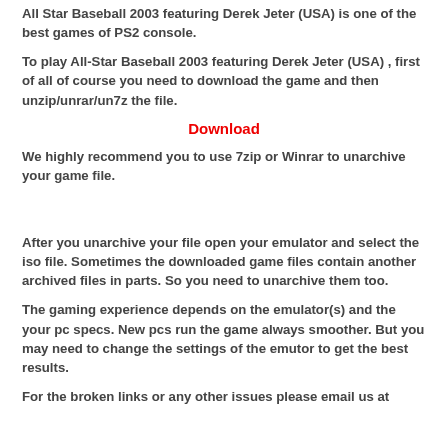All Star Baseball 2003 featuring Derek Jeter (USA) is one of the best games of PS2 console.
To play All-Star Baseball 2003 featuring Derek Jeter (USA) , first of all of course you need to download the game and then unzip/unrar/un7z the file.
Download
We highly recommend you to use 7zip or Winrar to unarchive your game file.
After you unarchive your file open your emulator and select the iso file. Sometimes the downloaded game files contain another archived files in parts. So you need to unarchive them too.
The gaming experience depends on the emulator(s) and the your pc specs. New pcs run the game always smoother. But you may need to change the settings of the emutor to get the best results.
For the broken links or any other issues please email us at